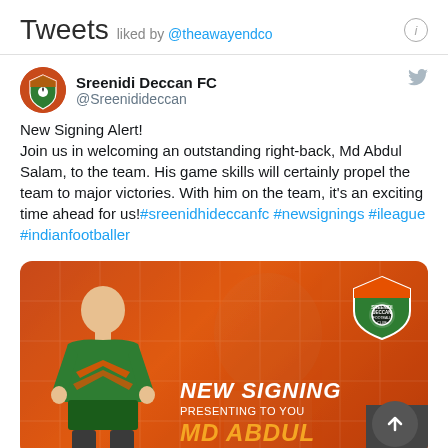Tweets liked by @theawayendco
Sreenidi Deccan FC
@Sreenidideccan
New Signing Alert!
Join us in welcoming an outstanding right-back, Md Abdul Salam, to the team. His game skills will certainly propel the team to major victories. With him on the team, it's an exciting time ahead for us!#sreenidhideccanfc #newsignings #ileague #indianfootballer
[Figure (photo): Sreenidi Deccan FC new signing promotional image with player Md Abdul in green jersey, orange background, club logo, text: NEW SIGNING PRESENTING TO YOU MD ABDUL]